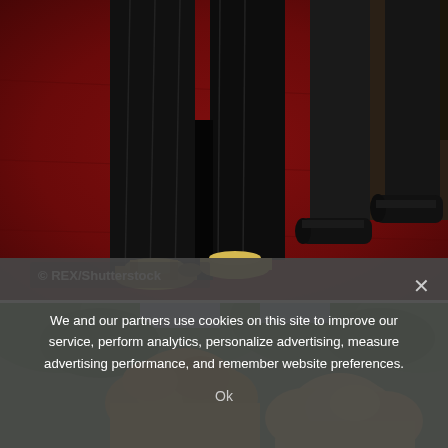[Figure (photo): Close-up of lower bodies on a red carpet. Person on left wearing black wide-leg pants and gold open-toe heels. Person on right wearing black trousers and black dress shoes. Dark door/wall visible at upper right. © REX/Shutterstock watermark at lower left.]
[Figure (photo): Outdoor photo showing top of two people's heads. Person on left has curly/wavy blond hair, person on right has lighter blond hair. Green trees visible in background.]
We and our partners use cookies on this site to improve our service, perform analytics, personalize advertising, measure advertising performance, and remember website preferences.
Ok